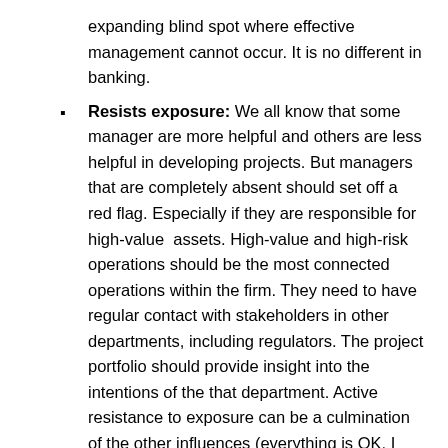expanding blind spot where effective management cannot occur. It is no different in banking.
Resists exposure: We all know that some manager are more helpful and others are less helpful in developing projects. But managers that are completely absent should set off a red flag. Especially if they are responsible for high-value assets. High-value and high-risk operations should be the most connected operations within the firm. They need to have regular contact with stakeholders in other departments, including regulators. The project portfolio should provide insight into the intentions of the that department. Active resistance to exposure can be a culmination of the other influences (everything is OK, I have no reasons to be connected, I don't need help from other department, etc.). However, it could also be